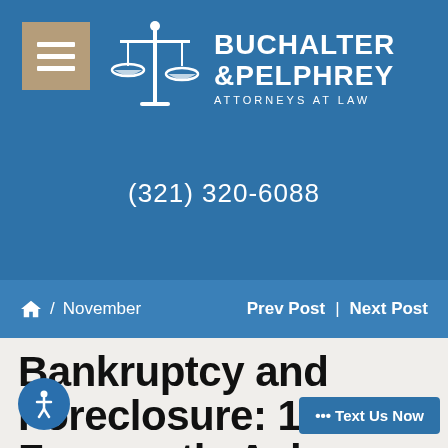[Figure (logo): Buchalter & Pelphrey Attorneys At Law logo with scales of justice icon and firm name]
(321) 320-6088
Home / November    Prev Post | Next Post
Bankruptcy and Foreclosure: 10 Frequently Asked